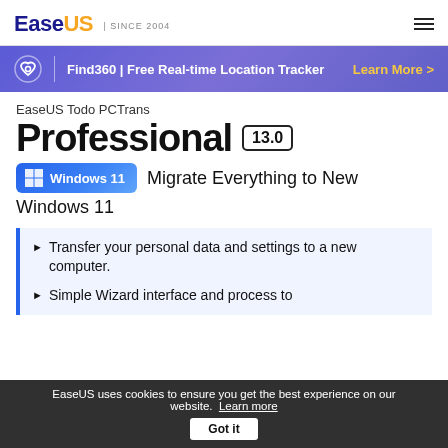EaseUS | SINCE 2004
[Figure (infographic): Find360 banner with heart icon: 'Find360 | Free Real-time Location Tracker  Learn More >']
EaseUS Todo PCTrans
Professional 13.0
Windows 11   Migrate Everything to New Windows 11
Transfer your personal data and settings to a new computer.
Simple Wizard interface and process to
EaseUS uses cookies to ensure you get the best experience on our website.  Learn more   Got it